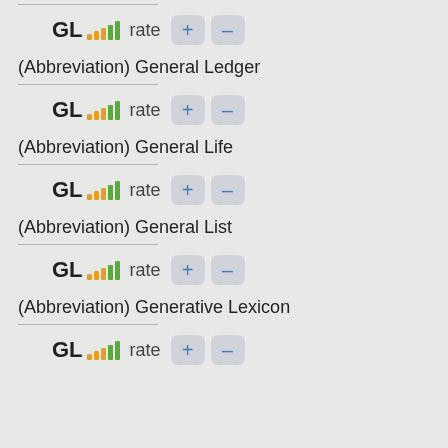GL rate + - (Abbreviation) General Ledger
GL rate + - (Abbreviation) General Life
GL rate + - (Abbreviation) General List
GL rate + - (Abbreviation) Generative Lexicon
GL rate + -